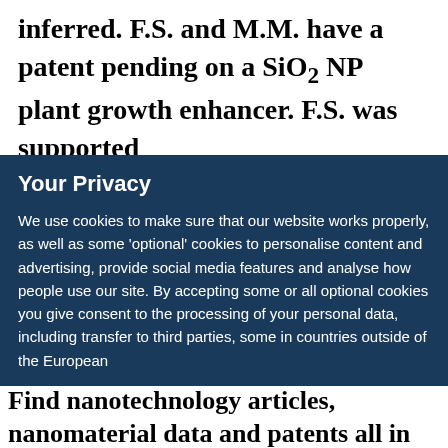inferred. F.S. and M.M. have a patent pending on a SiO₂ NP plant growth enhancer. F.S. was supported
Your Privacy
We use cookies to make sure that our website works properly, as well as some 'optional' cookies to personalise content and advertising, provide social media features and analyse how people use our site. By accepting some or all optional cookies you give consent to the processing of your personal data, including transfer to third parties, some in countries outside of the European
Find nanotechnology articles, nanomaterial data and patents all in one place.
Visit Nano by Nature Research
✕ Close